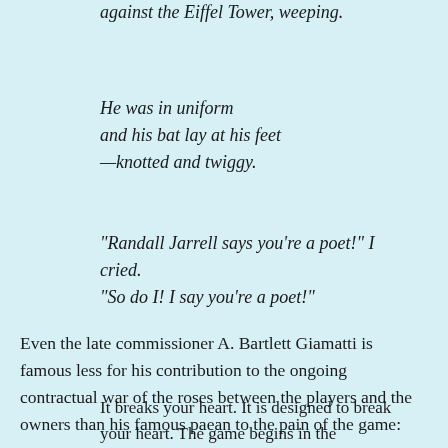against the Eiffel Tower, weeping.
He was in uniform
and his bat lay at his feet
—knotted and twiggy.
"Randall Jarrell says you're a poet!" I cried.
"So do I! I say you're a poet!"
Even the late commissioner A. Bartlett Giamatti is famous less for his contribution to the ongoing contractual war of the roses between the players and the owners than his famous paean to the pain of the game:
It breaks your heart. It is designed to break your heart. The game begins in the